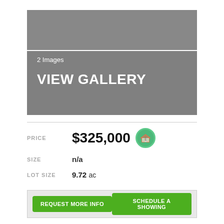[Figure (photo): Property image gallery placeholder showing gray background with '2 Images' count and 'VIEW GALLERY' call-to-action text in white]
PRICE   $325,000
SIZE   n/a
LOT SIZE   9.72 ac
REQUEST MORE INFO
SCHEDULE A SHOWING